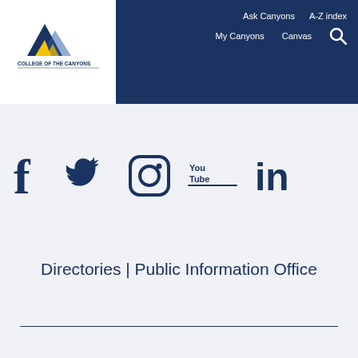[Figure (logo): College of the Canyons logo with mountain graphic and text]
Ask Canyons   A-Z index   My Canyons   Canvas
[Figure (infographic): Social media icons: Facebook, Twitter, Instagram, YouTube, LinkedIn in navy blue]
Directories | Public Information Office